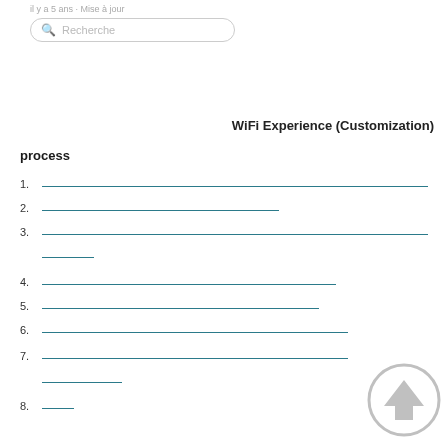il y a 5 ans · Mise à jour
Recherche
WiFi Experience (Customization)
process
1.
2.
3.
4.
5.
6.
7.
8.
[Figure (illustration): Upward pointing arrow inside a circle, grey colored, acting as a scroll-to-top button]